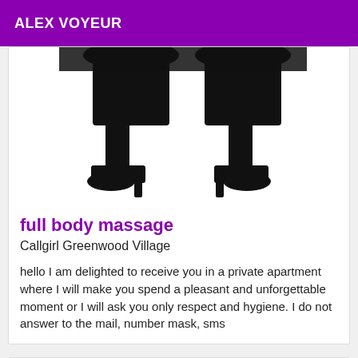ALEX VOYEUR
[Figure (illustration): Black silhouette of legs wearing high heel shoes, cropped at torso level]
full body massage
Callgirl Greenwood Village
hello I am delighted to receive you in a private apartment where I will make you spend a pleasant and unforgettable moment or I will ask you only respect and hygiene. I do not answer to the mail, number mask, sms
Verified